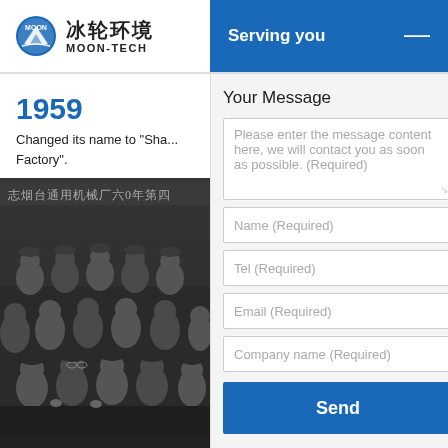[Figure (logo): Moon-Tech (冰轮环境) logo with mountain icon and Chinese/English text]
Serving you
Your Message
Please enter the message content here, we will contact you as soon as possible. (Required)
Name (Required)
Tel (Required)
Email (Required)
Company name (Required)
1959
Changed its name to "Sha... Factory".
[Figure (photo): Black and white historical group photo of factory workers with Chinese text banner]
Send